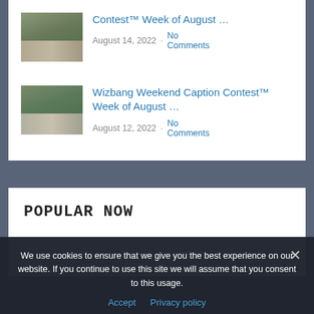Contest™ Week of August … August 14, 2022 · No Comments
Wizbang Weekend Caption Contest™ Week of August … August 12, 2022 · No Comments
POPULAR NOW
We use cookies to ensure that we give you the best experience on our website. If you continue to use this site we will assume that you consent to this usage.
Accept   Privacy policy